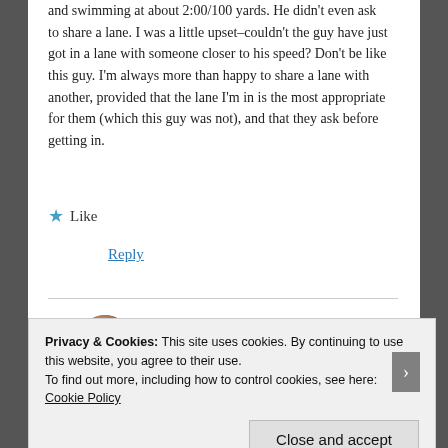and swimming at about 2:00/100 yards. He didn't even ask to share a lane. I was a little upset–couldn't the guy have just got in a lane with someone closer to his speed? Don't be like this guy. I'm always more than happy to share a lane with another, provided that the lane I'm in is the most appropriate for them (which this guy was not), and that they ask before getting in.
★ Like
Reply
[Figure (photo): Circular avatar photo of a person]
LoneSwimmer
Privacy & Cookies: This site uses cookies. By continuing to use this website, you agree to their use.
To find out more, including how to control cookies, see here: Cookie Policy
Close and accept